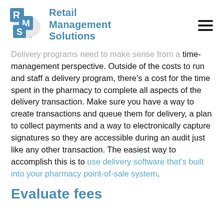Retail Management Solutions
Delivery programs need to make sense from a time-management perspective. Outside of the costs to run and staff a delivery program, there’s a cost for the time spent in the pharmacy to complete all aspects of the delivery transaction. Make sure you have a way to create transactions and queue them for delivery, a plan to collect payments and a way to electronically capture signatures so they are accessible during an audit just like any other transaction. The easiest way to accomplish this is to use delivery software that’s built into your pharmacy point-of-sale system.
Evaluate fees